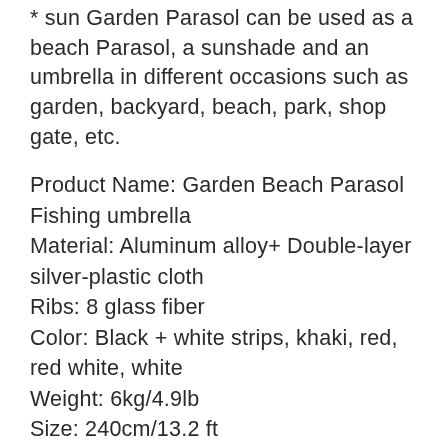* sun Garden Parasol can be used as a beach Parasol, a sunshade and an umbrella in different occasions such as garden, backyard, beach, park, shop gate, etc.
Product Name: Garden Beach Parasol Fishing umbrella
Material: Aluminum alloy+ Double-layer silver-plastic cloth
Ribs: 8 glass fiber
Color: Black + white strips, khaki, red, red white, white
Weight: 6kg/4.9lb
Size: 240cm/13.2 ft
Folded size: 150cm/4.9ft
We provide you with the best service, please feel free to contact me if you have any